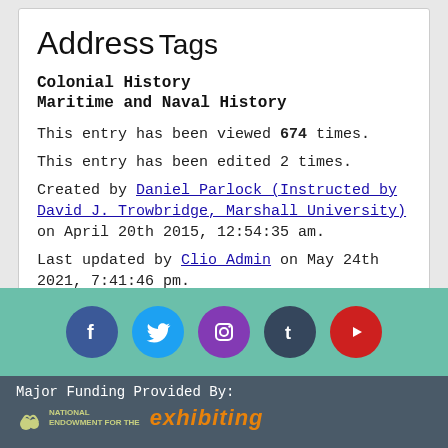Address
Tags
Colonial History
Maritime and Naval History
This entry has been viewed 674 times.
This entry has been edited 2 times.
Created by Daniel Parlock (Instructed by David J. Trowbridge, Marshall University) on April 20th 2015, 12:54:35 am.
Last updated by Clio Admin on May 24th 2021, 7:41:46 pm.
[Figure (infographic): Social media icons row: Facebook (blue), Twitter (teal), Instagram (purple), Tumblr (dark blue), YouTube (red) on green background]
Major Funding Provided By: National Endowment for the Humanities / exhibiting...